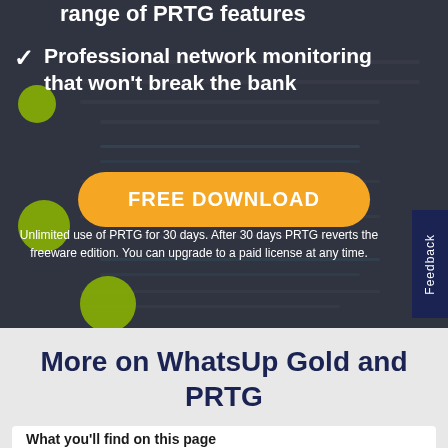range of PRTG features
Professional network monitoring that won't break the bank
[Figure (other): Orange FREE DOWNLOAD button with rounded corners on dark blurred background]
Unlimited use of PRTG for 30 days. After 30 days PRTG reverts the freeware edition. You can upgrade to a paid license at any time.
More on WhatsUp Gold and PRTG
What you'll find on this page